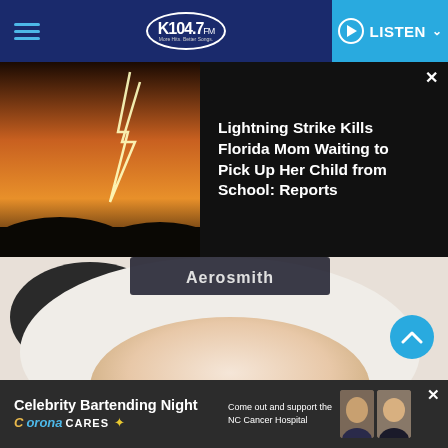K104.7 FM | LISTEN
[Figure (screenshot): News card showing lightning strike photo and headline]
Lightning Strike Kills Florida Mom Waiting to Pick Up Her Child from School: Reports
[Figure (photo): Aerosmith Get A Grip album cover showing close-up of cow udder with nose ring, with Geffen label watermark]
[Figure (screenshot): Advertisement banner: Celebrity Bartending Night - Corona Cares - Come out and support the NC Cancer Hospital]